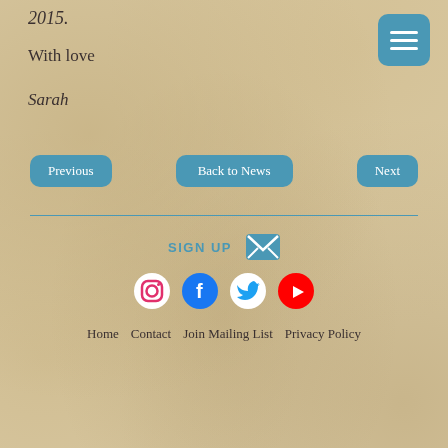2015.
With love
Sarah
[Figure (other): Hamburger menu button (three horizontal lines) in teal/blue rounded square, top right corner]
Previous | Back to News | Next (navigation buttons)
SIGN UP (with envelope icon and social media icons: Instagram, Facebook, Twitter, YouTube)
Home  Contact  Join Mailing List  Privacy Policy